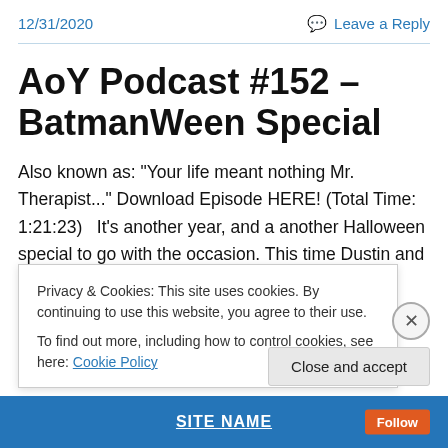12/31/2020   Leave a Reply
AoY Podcast #152 – BatmanWeen Special
Also known as: "Your life meant nothing Mr. Therapist..." Download Episode HERE! (Total Time: 1:21:23)   It's another year, and a another Halloween special to go with the occasion. This time Dustin and Jonn review Batman: Year One, The Dark Knight Returns and Batman: Gotham
Privacy & Cookies: This site uses cookies. By continuing to use this website, you agree to their use.
To find out more, including how to control cookies, see here: Cookie Policy
Close and accept